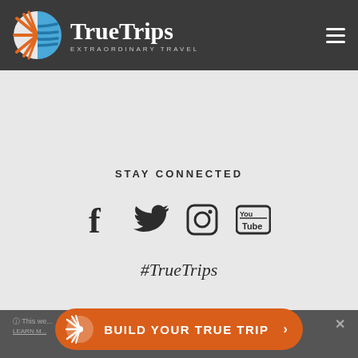[Figure (logo): TrueTrips logo with orange and blue sunburst/wave icon, white text 'TrueTrips' and 'EXTRAORDINARY TRAVEL' subtitle on dark grey header bar]
STAY CONNECTED
[Figure (infographic): Four social media icons in a row: Facebook (f), Twitter (bird), Instagram (camera), YouTube (You/Tube box)]
#TrueTrips
[Figure (infographic): Orange CTA button with TrueTrips sunburst logo and text 'BUILD YOUR TRUE TRIP >']